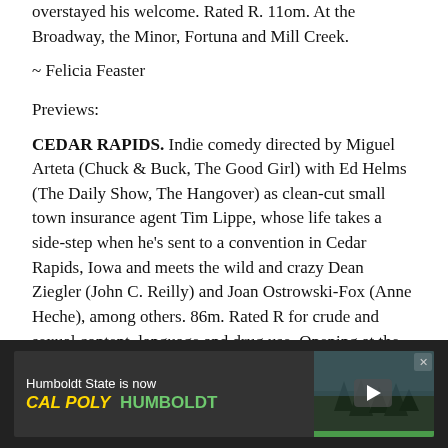overstayed his welcome. Rated R. 11om. At the Broadway, the Minor, Fortuna and Mill Creek.
~ Felicia Feaster
Previews:
CEDAR RAPIDS. Indie comedy directed by Miguel Arteta (Chuck & Buck, The Good Girl) with Ed Helms (The Daily Show, The Hangover) as clean-cut small town insurance agent Tim Lippe, whose life takes a side-step when he's sent to a convention in Cedar Rapids, Iowa and meets the wild and crazy Dean Ziegler (John C. Reilly) and Joan Ostrowski-Fox (Anne Heche), among others. 86m. Rated R for crude and sexual content, language and drug use. Opening at the Broadway.
[Figure (infographic): Advertisement banner: Humboldt State is now CAL POLY HUMBOLDT with forest imagery and play button arrow]